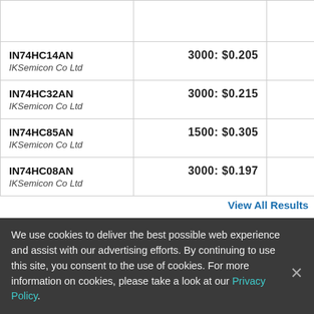| Part / Manufacturer | Price |  |
| --- | --- | --- |
| IN74HC14AN
IKSemicon Co Ltd | 3000: $0.205 |  |
| IN74HC32AN
IKSemicon Co Ltd | 3000: $0.215 |  |
| IN74HC85AN
IKSemicon Co Ltd | 1500: $0.305 |  |
| IN74HC08AN
IKSemicon Co Ltd | 3000: $0.197 |  |
View All Results
We use cookies to deliver the best possible web experience and assist with our advertising efforts. By continuing to use this site, you consent to the use of cookies. For more information on cookies, please take a look at our Privacy Policy.